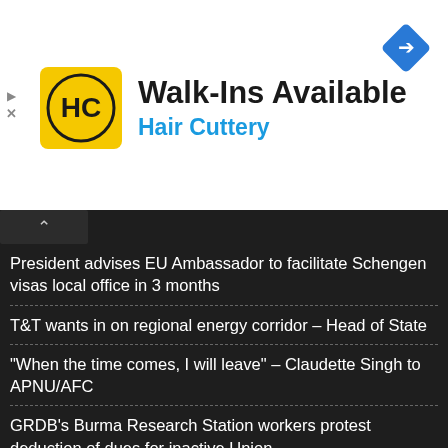[Figure (logo): Hair Cuttery advertisement banner with HC logo, 'Walk-Ins Available' headline, 'Hair Cuttery' subheading, and a blue navigation diamond icon]
President advises EU Ambassador to facilitate Schengen visas local office in 3 months
T&T wants in on regional energy corridor – Head of State
"When the time comes, I will leave" – Claudette Singh to APNU/AFC
GRDB's Burma Research Station workers protest deduction of dues for inactive Union
GPF awaiting legal advice to determine fate of Sgt Bascom